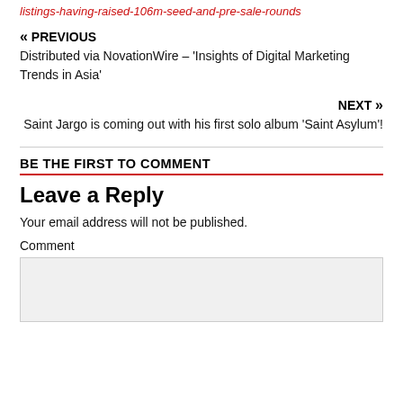listings-having-raised-106m-seed-and-pre-sale-rounds
« PREVIOUS
Distributed via NovationWire – 'Insights of Digital Marketing Trends in Asia'
NEXT »
Saint Jargo is coming out with his first solo album 'Saint Asylum'!
BE THE FIRST TO COMMENT
Leave a Reply
Your email address will not be published.
Comment